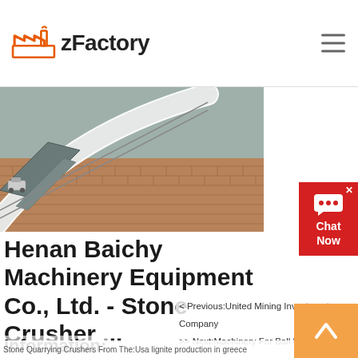zFactory
[Figure (photo): Aerial view of industrial stone crusher or conveyor equipment, grey metal structure, brick surface visible]
Henan Baichy Machinery Equipment Co., Ltd. - Stone Crusher ...
Baichy Machinery is a mining machinery company engaged in manufacturing stone crusher, grinding equipment, mobile crushing station and mineral processing machines, integrates research and development design
< Previous:United Mining Investments Company
>> Next:Machinery For Ball Mill Dolomite
Information:
Stone Quarrying Crushers From The:Usa lignite production in greece